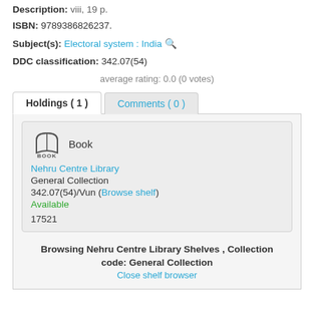Description: viii, 19 p.
ISBN: 9789386826237.
Subject(s): Electoral system : India
DDC classification: 342.07(54)
average rating: 0.0 (0 votes)
Holdings ( 1 )
Book
Nehru Centre Library
General Collection
342.07(54)/Vun (Browse shelf)
Available
17521
Browsing Nehru Centre Library Shelves , Collection code: General Collection
Close shelf browser